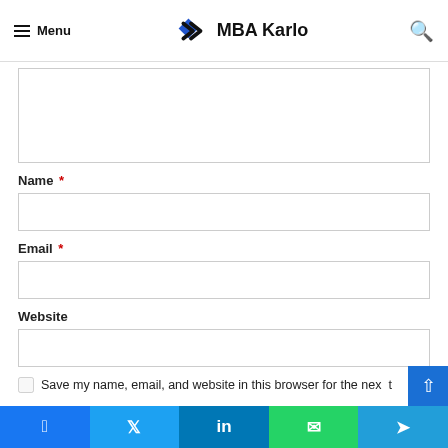Menu  MBA Karlo
Name *
Email *
Website
Save my name, email, and website in this browser for the next
Facebook  Twitter  LinkedIn  WhatsApp  Telegram